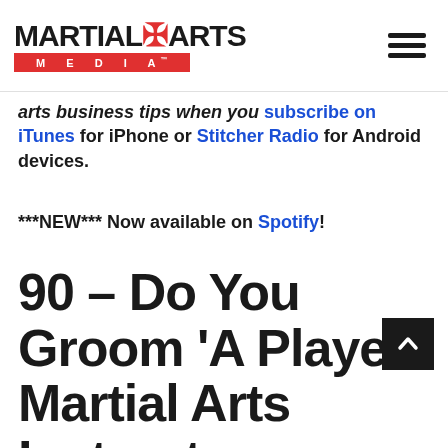MARTIAL ARTS MEDIA™
arts business tips when you subscribe on iTunes for iPhone or Stitcher Radio for Android devices.
***NEW*** Now available on Spotify!
90 – Do You Groom 'A Player' Martial Arts Instructors,